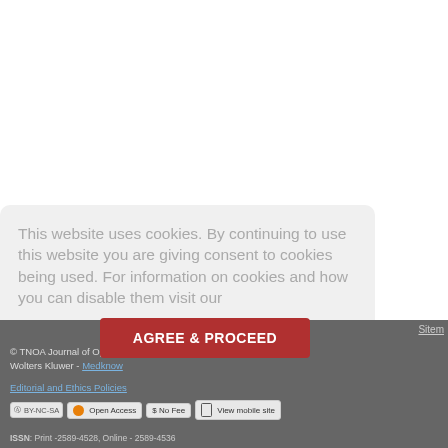This website uses cookies. By continuing to use this website you are giving consent to cookies being used. For information on cookies and how you can disable them visit our
Privacy and Cookie Policy.
© TNOA Journal of Ophthalmic Science and Research | Published by Wolters Kluwer - Medknow
AGREE & PROCEED
Editorial and Ethics Policies
cc by-nc-sa  Open Access  $ No Fee  View mobile site
ISSN: Print -2589-4528, Online - 2589-4536
Sitemap